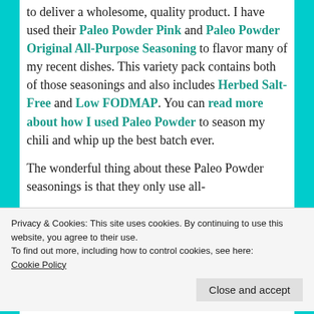to deliver a wholesome, quality product. I have used their Paleo Powder Pink and Paleo Powder Original All-Purpose Seasoning to flavor many of my recent dishes. This variety pack contains both of those seasonings and also includes Herbed Salt-Free and Low FODMAP. You can read more about how I used Paleo Powder to season my chili and whip up the best batch ever.

The wonderful thing about these Paleo Powder seasonings is that they only use all-
Privacy & Cookies: This site uses cookies. By continuing to use this website, you agree to their use.
To find out more, including how to control cookies, see here:
Cookie Policy
milk-free facility. These seasonings are